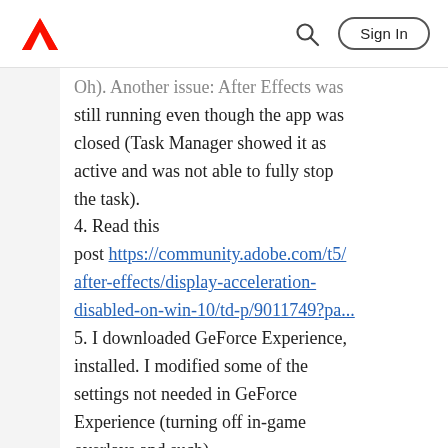Adobe logo, Search, Sign In
Oh). Another issue: After Effects was still running even though the app was closed (Task Manager showed it as active and was not able to fully stop the task).
4. Read this post https://community.adobe.com/t5/after-effects/display-acceleration-disabled-on-win-10/td-p/9011749?pa...
5. I downloaded GeForce Experience, installed. I modified some of the settings not needed in GeForce Experience (turning off in-game overlays and such).
6. I restarted my PC. Launched AE and